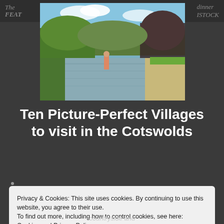The FEAT... | dinner ...ISTOCK
[Figure (photo): A scenic photo of a river or stream in the Cotswolds with a child wading in shallow water, flanked by lush green hedges and trees on a sunny day.]
Ten Picture-Perfect Villages to visit in the Cotswolds
Privacy & Cookies: This site uses cookies. By continuing to use this website, you agree to their use.
To find out more, including how to control cookies, see here: Cookies and Privacy Policy
Close to accept.
countryside and